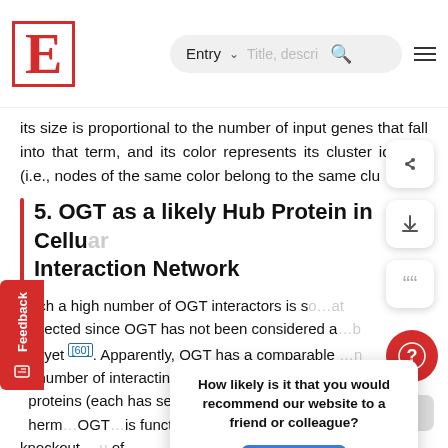E  Entry  Title, descri... [search] [menu]
its size is proportional to the number of input genes that fall into that term, and its color represents its cluster identity (i.e., nodes of the same color belong to the same clu…
5. OGT as a likely Hub Protein in Cellular Interaction Network
Such a high number of OGT interactors is so…at expected since OGT has not been considered a…b ein yet [60]. Apparently, OGT has a comparable…n er number of interacting proteins than many of the ~300 proteins (each has several hundred interacto…). herm…OGT…is functionally…ince the knockout…u of organism…(a…cy rule [62]. T…e cellular